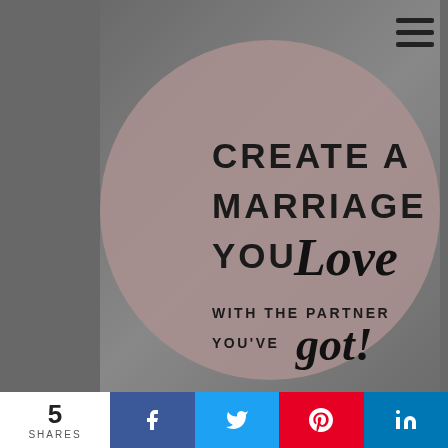[Figure (illustration): A circular graphic on a gray blurred background showing the text: CREATE A MARRIAGE YOU Love WITH THE PARTNER YOU'VE got! in mixed serif/sans-serif typography on a muted rose/taupe circle.]
Create a marriage you LOVE with the partner you've ...
[Figure (photo): A partially visible photo strip showing papers or documents.]
5 SHARES